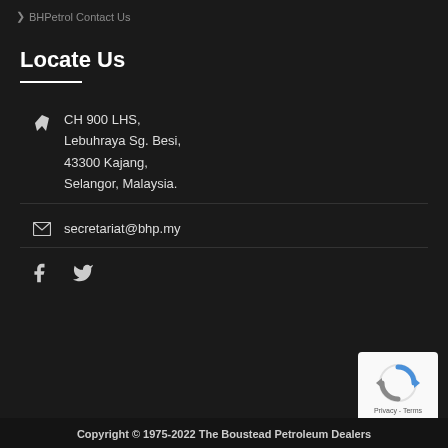> BHPetrol Contact Us
Locate Us
CH 900 LHS,
Lebuhraya Sg. Besi,
43300 Kajang,
Selangor, Malaysia.
secretariat@bhp.my
[Figure (other): Facebook and Twitter social media icons]
[Figure (other): reCAPTCHA widget with Privacy - Terms text]
Copyright © 1975-2022 The Boustead Petroleum Dealers